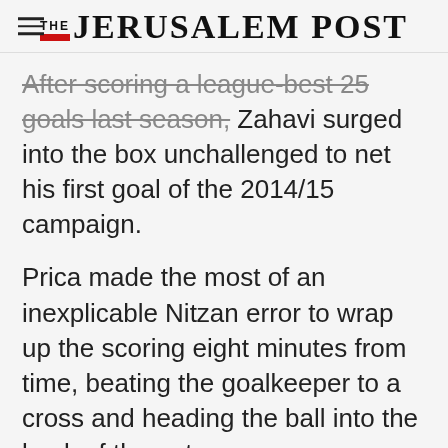THE JERUSALEM POST
After scoring a league-best 25 goals last season, Zahavi surged into the box unchallenged to net his first goal of the 2014/15 campaign.
Prica made the most of an inexplicable Nitzan error to wrap up the scoring eight minutes from time, beating the goalkeeper to a cross and heading the ball into the back of the net.
On Monday, Maccabi Haifa plays its first match at
Advertisement